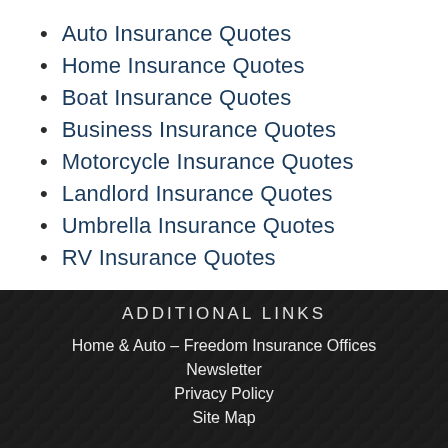Auto Insurance Quotes
Home Insurance Quotes
Boat Insurance Quotes
Business Insurance Quotes
Motorcycle Insurance Quotes
Landlord Insurance Quotes
Umbrella Insurance Quotes
RV Insurance Quotes
ADDITIONAL LINKS
Home & Auto – Freedom Insurance Offices
Newsletter
Privacy Policy
Site Map